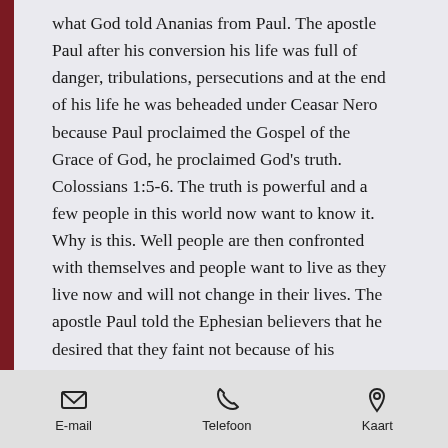what God told Ananias from Paul. The apostle Paul after his conversion his life was full of danger, tribulations, persecutions and at the end of his life he was beheaded under Ceasar Nero because Paul proclaimed the Gospel of the Grace of God, he proclaimed God's truth. Colossians 1:5-6. The truth is powerful and a few people in this world now want to know it. Why is this. Well people are then confronted with themselves and people want to live as they live now and will not change in their lives. The apostle Paul told the Ephesian believers that he desired that they faint not because of his tribulations because through his tribulations there was a reason for them to continue to believe in the Gospel of Grace which brought much fruit in their lives and continue to proclaim this to other people in this world. In Colossians 1 verse 5 and 6 we read: For the hope which is laid up for
E-mail  Telefoon  Kaart